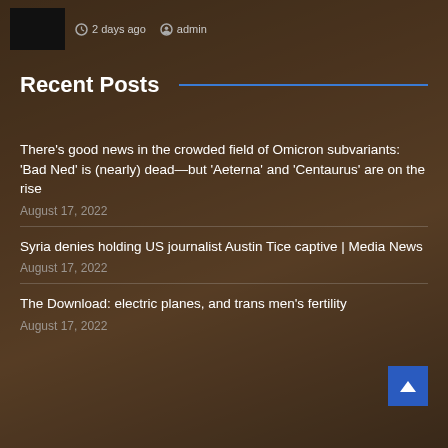2 days ago  admin
Recent Posts
There’s good news in the crowded field of Omicron subvariants: ‘Bad Ned’ is (nearly) dead—but ‘Aeterna’ and ‘Centaurus’ are on the rise
August 17, 2022
Syria denies holding US journalist Austin Tice captive | Media News
August 17, 2022
The Download: electric planes, and trans men’s fertility
August 17, 2022